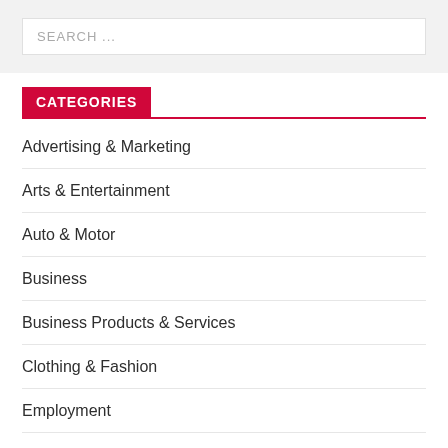[Figure (screenshot): Search input field with placeholder text 'SEARCH ...' on a light grey background]
CATEGORIES
Advertising & Marketing
Arts & Entertainment
Auto & Motor
Business
Business Products & Services
Clothing & Fashion
Employment
Financial